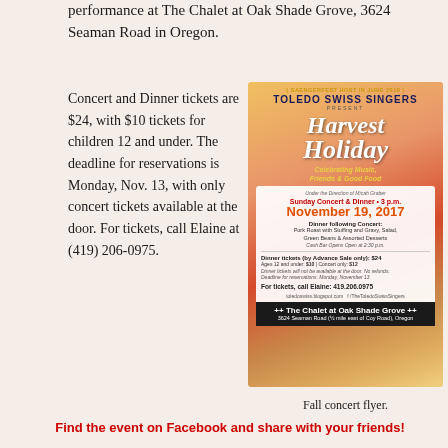performance at The Chalet at Oak Shade Grove, 3624 Seaman Road in Oregon.
Concert and Dinner tickets are $24, with $10 tickets for children 12 and under. The deadline for reservations is Monday, Nov. 13, with only concert tickets available at the door. For tickets, call Elaine at (419) 206-0975.
[Figure (illustration): Toledo Swiss Singers Harvest Holiday concert flyer for November 19, 2017 at The Chalet at Oak Shade Grove, Oregon]
Fall concert flyer.
Find the event on Facebook and share with your friends!